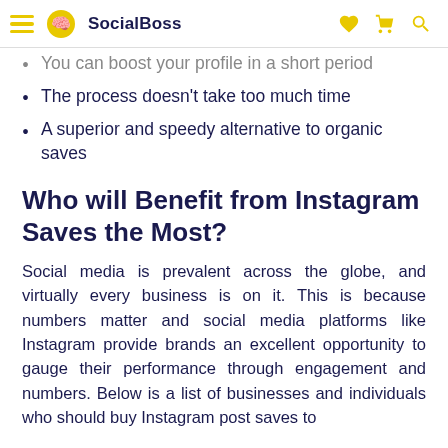SocialBoss
You can boost your profile in a short period
The process doesn't take too much time
A superior and speedy alternative to organic saves
Who will Benefit from Instagram Saves the Most?
Social media is prevalent across the globe, and virtually every business is on it. This is because numbers matter and social media platforms like Instagram provide brands an excellent opportunity to gauge their performance through engagement and numbers. Below is a list of businesses and individuals who should buy Instagram post saves to